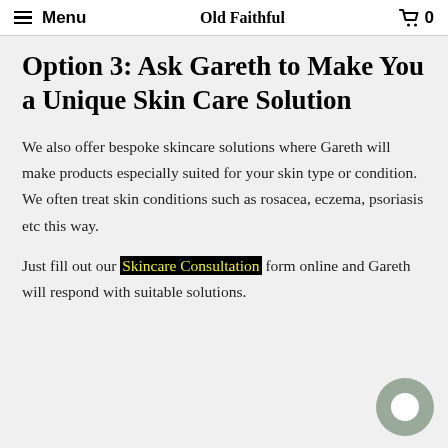Menu | Old Faithful | 0
Option 3: Ask Gareth to Make You a Unique Skin Care Solution
We also offer bespoke skincare solutions where Gareth will make products especially suited for your skin type or condition. We often treat skin conditions such as rosacea, eczema, psoriasis etc this way.
Just fill out our Skincare Consultation form online and Gareth will respond with suitable solutions.